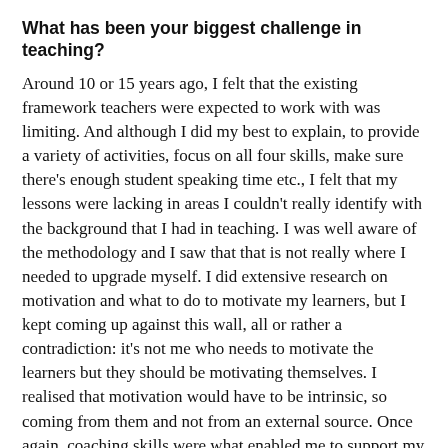What has been your biggest challenge in teaching?
Around 10 or 15 years ago, I felt that the existing framework teachers were expected to work with was limiting. And although I did my best to explain, to provide a variety of activities, focus on all four skills, make sure there's enough student speaking time etc., I felt that my lessons were lacking in areas I couldn't really identify with the background that I had in teaching. I was well aware of the methodology and I saw that that is not really where I needed to upgrade myself. I did extensive research on motivation and what to do to motivate my learners, but I kept coming up against this wall, all or rather a contradiction: it's not me who needs to motivate the learners but they should be motivating themselves. I realised that motivation would have to be intrinsic, so coming from them and not from an external source. Once again, coaching skills were what enabled me to support my learners being self-